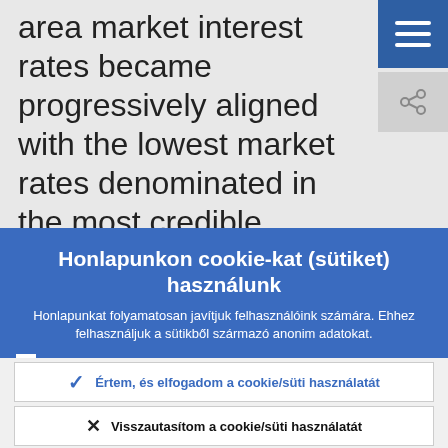area market interest rates became progressively aligned with the lowest market rates denominated in the most credible currencies, reflecting the
Honlapunkon cookie-kat (sütiket) használunk
Honlapunkat folyamatosan javítjuk felhasználóink számára. Ehhez felhasználjuk a sütikből származó anonim adatokat.
Ismerje meg, hogyan alkalmazzuk a cookie-t/sütit!
Értem, és elfogadom a cookie/süti használatát
Visszautasítom a cookie/süti használatát